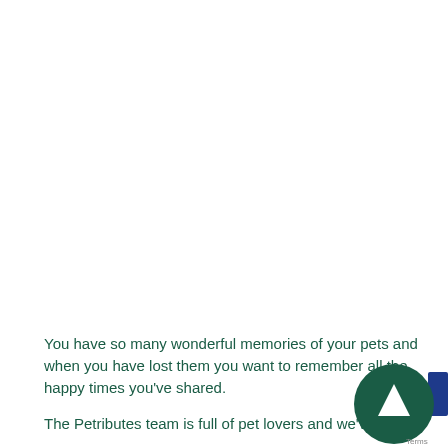You have so many wonderful memories of your pets and when you have lost them you want to remember all the happy times you've shared.

The Petributes team is full of pet lovers and we've all
[Figure (other): A circular dark green badge with a white play/navigation triangle arrow in the center, with a blue video camera icon element overlapping on the right side. A small 'Terms' label appears at bottom right.]